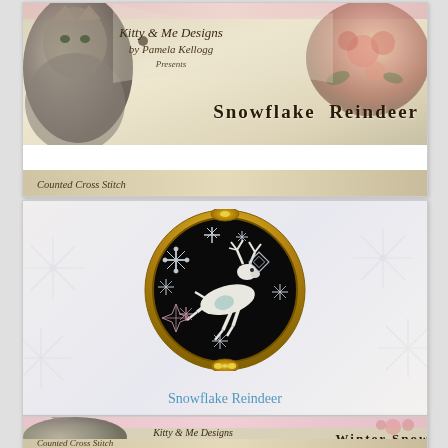[Figure (illustration): Cross stitch pattern product listing page showing two items. Top: Kitty and Me Designs by Pamela Kellogg header banner with cat and roses, titled 'Snowflake Reindeer', Counted Cross Stitch label. Middle: Large white card with snowflake background, gold oval frame containing black circular embroidery of leaping reindeer surrounded by snowflakes. Caption 'Snowflake Reindeer' in blue. Bottom: Partial card showing Kitty and Me Designs header banner for 'Winter Snow' pattern.]
Snowflake Reindeer
Winter Snow